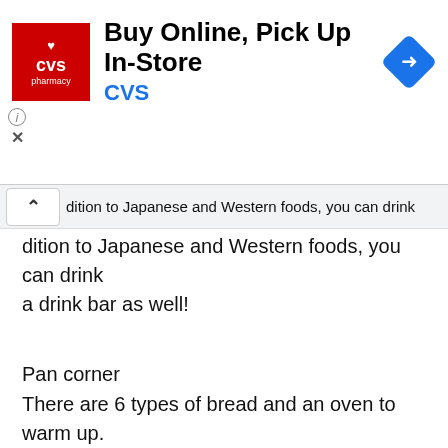[Figure (screenshot): CVS Pharmacy advertisement banner with logo, 'Buy Online, Pick Up In-Store' headline, CVS brand name in blue, and a navigation arrow icon on the right.]
dition to Japanese and Western foods, you can drink a drink bar as well!
Pan corner
There are 6 types of bread and an oven to warm up.
Salad corner
There are lettuce, potato salad, broccoli, tomato, seaweed, corn.
There were two kinds of dressing, Japanese style and